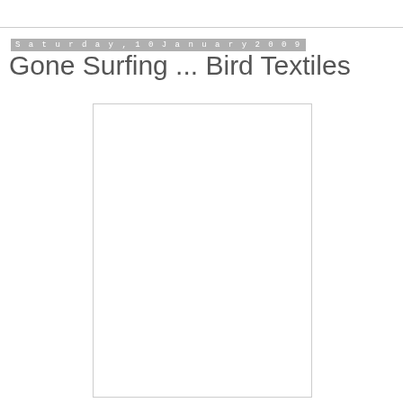Saturday, 10 January 2009
Gone Surfing ... Bird Textiles
[Figure (photo): A white/blank rectangular image placeholder with a light gray border]